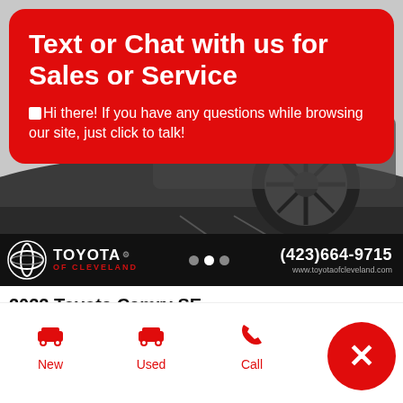[Figure (screenshot): Car listing photo showing a dark vehicle wheel and pavement, with Toyota of Cleveland dealer bar overlay showing phone (423)664-9715 and www.toyotaofcleveland.com]
Text or Chat with us for Sales or Service
Hi there! If you have any questions while browsing our site, just click to talk!
2022 Toyota Camry SE
McDonald, TN  |  # P10335
New
Used
Call
Te